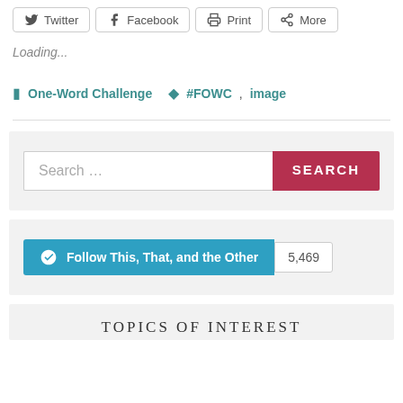[Figure (screenshot): Social share buttons: Twitter, Facebook, Print, More]
Loading...
One-Word Challenge  #FOWC, image
[Figure (screenshot): Search bar with Search button]
[Figure (screenshot): Follow This, That, and the Other button with count 5,469]
TOPICS OF INTEREST